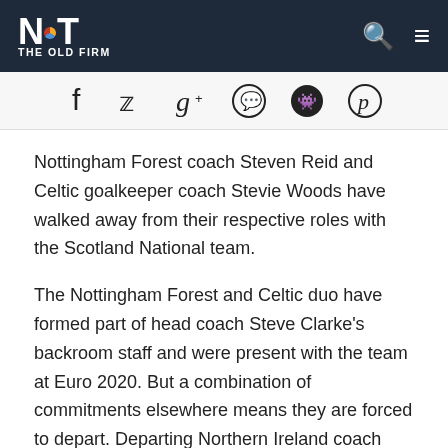NOT THE OLD FIRM
[Figure (infographic): Social sharing icons: Facebook, Twitter, Google+, WhatsApp, Reddit, Pinterest]
Nottingham Forest coach Steven Reid and Celtic goalkeeper coach Stevie Woods have walked away from their respective roles with the Scotland National team.
The Nottingham Forest and Celtic duo have formed part of head coach Steve Clarke's backroom staff and were present with the team at Euro 2020. But a combination of commitments elsewhere means they are forced to depart. Departing Northern Ireland coach Austin MacPhee and former England